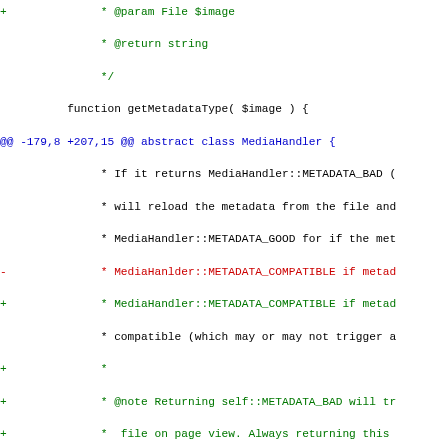Code diff showing changes to MediaHandler class PHP file, including getMetadataType and isMetadataValid functions with added documentation comments.